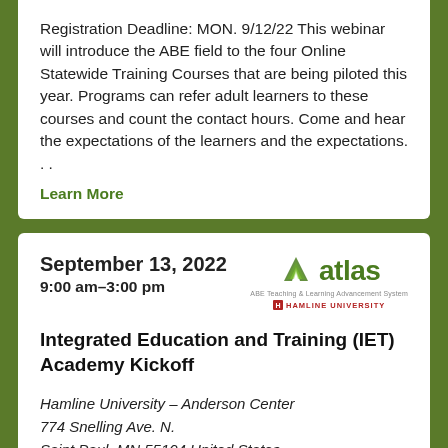Registration Deadline: MON. 9/12/22 This webinar will introduce the ABE field to the four Online Statewide Training Courses that are being piloted this year. Programs can refer adult learners to these courses and count the contact hours. Come and hear the expectations of the learners and the expectations…
Learn More
September 13, 2022
9:00 am–3:00 pm
[Figure (logo): atlas logo with green chevron/mountain icon, subtitle ABE Teaching & Learning Advancement System, and Hamline University text in red]
Integrated Education and Training (IET) Academy Kickoff
Hamline University – Anderson Center
774 Snelling Ave. N.
Saint Paul, MN 55104 United States